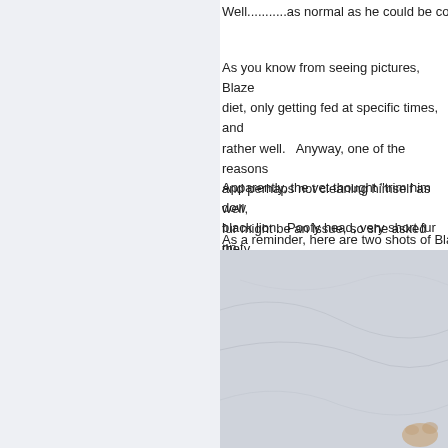Well...........as normal as he could be cons
As you know from seeing pictures, Blaze diet, only getting fed at specific times, and rather well.  Anyway, one of the reasons and perhaps not cleaning himself as well, fur might be an issue, so she asked the v
Apparently, the vet thought "trim him dow black lion.  Poofy head, very short fur on t
As a reminder, here are two shots of Blaz
[Figure (photo): Photo of a cat on a light gray/white surface, partially visible at bottom right corner of image]